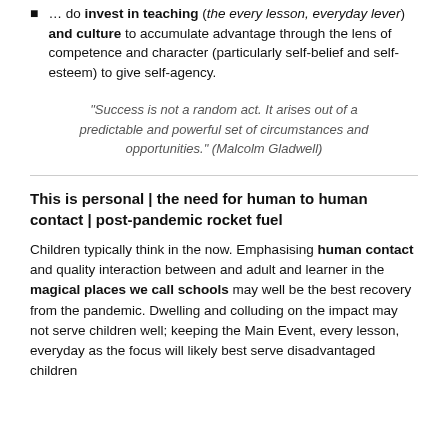… do invest in teaching (the every lesson, everyday lever) and culture to accumulate advantage through the lens of competence and character (particularly self-belief and self-esteem) to give self-agency.
“Success is not a random act. It arises out of a predictable and powerful set of circumstances and opportunities.” (Malcolm Gladwell)
This is personal | the need for human to human contact | post-pandemic rocket fuel
Children typically think in the now. Emphasising human contact and quality interaction between and adult and learner in the magical places we call schools may well be the best recovery from the pandemic. Dwelling and colluding on the impact may not serve children well; keeping the Main Event, every lesson, everyday as the focus will likely best serve disadvantaged children